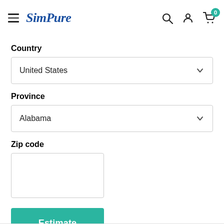SimPure — navigation bar with hamburger menu, logo, search, account, and cart icons
Country
United States
Province
Alabama
Zip code
Estimate